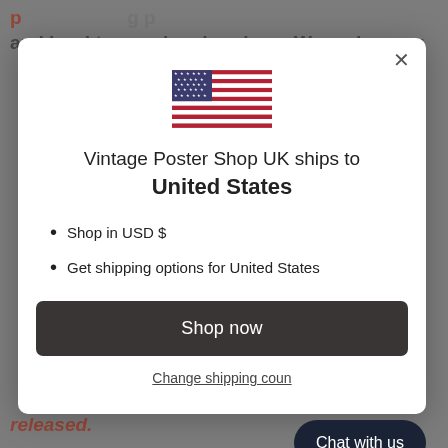and hard to acquire elsewhere. We endeavour
[Figure (illustration): US flag SVG illustration]
Vintage Poster Shop UK ships to United States
Shop in USD $
Get shipping options for United States
Shop now
Change shipping country
released.